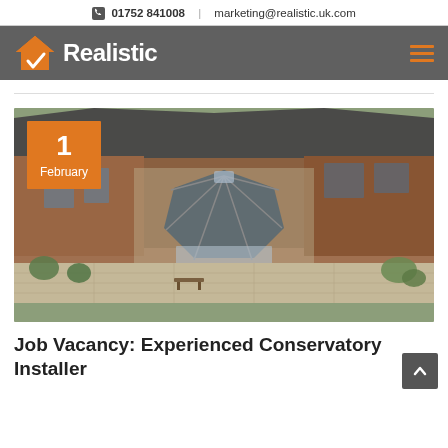01752 841008  |  marketing@realistic.uk.com
[Figure (logo): Realistic home improvement company logo: orange house with checkmark icon and 'Realistic' text in white on grey background, with hamburger menu icon]
[Figure (photo): Aerial photograph of a brick residential house with a large grey octagonal conservatory/orangery structure attached, surrounded by a patio, garden with shrubs and trees. Orange date badge overlay showing '1 February'.]
Job Vacancy: Experienced Conservatory Installer